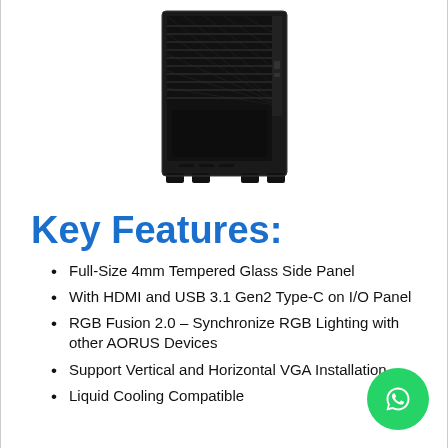[Figure (photo): Black PC computer case/tower chassis shown from the side-front angle against white background]
Key Features:
Full-Size 4mm Tempered Glass Side Panel
With HDMI and USB 3.1 Gen2 Type-C on I/O Panel
RGB Fusion 2.0 – Synchronize RGB Lighting with other AORUS Devices
Support Vertical and Horizontal VGA Installation
Liquid Cooling Compatible
[Figure (logo): WhatsApp green circular icon button in bottom right corner]